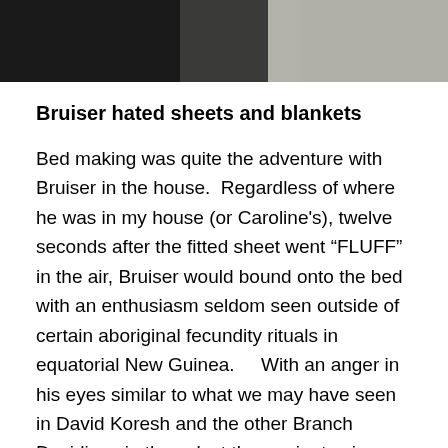[Figure (photo): Top portion of a photo showing what appears to be a cat or animal on or near bedding/fabric, mostly dark tones on the left and light/white fluffy texture on the right.]
Bruiser hated sheets and blankets
Bed making was quite the adventure with Bruiser in the house.  Regardless of where he was in my house (or Caroline's), twelve seconds after the fitted sheet went “FLUFF” in the air, Bruiser would bound onto the bed with an enthusiasm seldom seen outside of certain aboriginal fecundity rituals in equatorial New Guinea.     With an anger in his eyes similar to what we may have seen in David Koresh and the other Branch Davidians in those last three minutes in Waco, Bruiser would rear back, bear the back feet claws and go to town....rolling around and running from corner to corner as the fitted sheet became fitted to the mattress.    For extra fun, and if I’d been